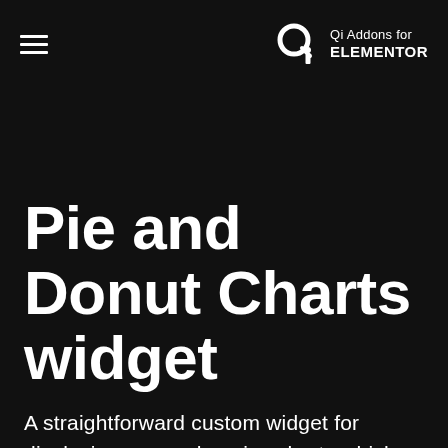Qi Addons for ELEMENTOR
Pie and Donut Charts widget
A straightforward custom widget for displaying comprehensive charts which you can easily customize